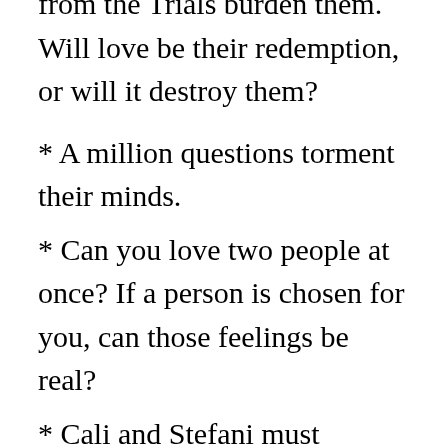from the Trials burden them. Will love be their redemption, or will it destroy them?
* A million questions torment their minds.
* Can you love two people at once? If a person is chosen for you, can those feelings be real?
* Cali and Stefani must overcome heartbreak and pull together with their loved ones before it’s too late. The abominable truth is unveiled, which sends